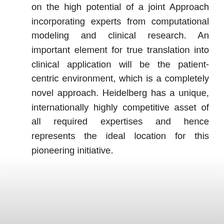on the high potential of a joint Approach incorporating experts from computational modeling and clinical research. An important element for true translation into clinical application will be the patient-centric environment, which is a completely novel approach. Heidelberg has a unique, internationally highly competitive asset of all required expertises and hence represents the ideal location for this pioneering initiative.